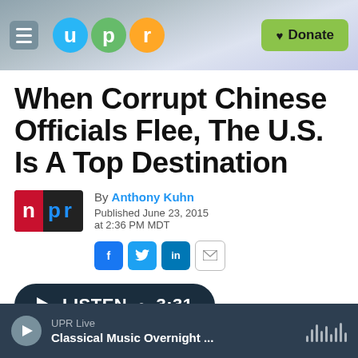UPR — Donate
When Corrupt Chinese Officials Flee, The U.S. Is A Top Destination
By Anthony Kuhn
Published June 23, 2015 at 2:36 PM MDT
LISTEN • 3:31
UPR Live — Classical Music Overnight ...